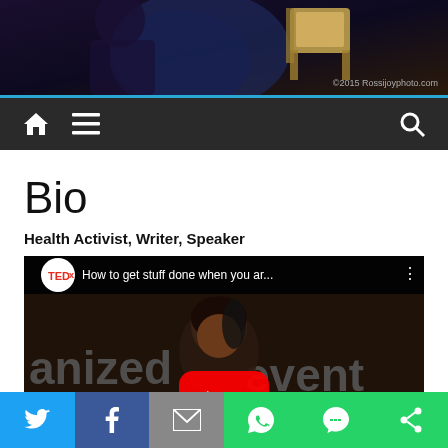[Figure (photo): Header photo showing a person on stage with a chair and dark background, with copyright text '©2015 Rossijoyphoto.com']
Navigation bar with home icon, menu icon, and search icon on dark background with blue top border
Bio
Health Activist, Writer, Speaker
[Figure (screenshot): YouTube video embed showing TEDx talk titled 'How to get stuff done when you ar...' with a woman speaking on stage, background shows 'anized event' text, YouTube play button overlay]
Social share bar with Twitter, Facebook, Email, WhatsApp, SMS, and Share buttons